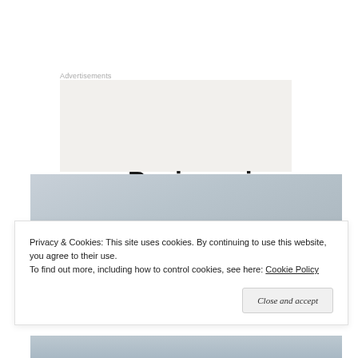Advertisements
[Figure (other): Advertisement banner with large bold text reading 'Business in the front...' on a light beige/cream background]
[Figure (photo): Gray-blue image area, appears to be a blurred or abstract background photo]
Privacy & Cookies: This site uses cookies. By continuing to use this website, you agree to their use.
To find out more, including how to control cookies, see here: Cookie Policy
Close and accept